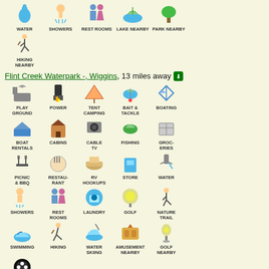[Figure (infographic): Row of camping/recreation icons: WATER, SHOWERS, REST ROOMS, LAKE NEARBY, PARK NEARBY, HIKING NEARBY]
Flint Creek Waterpark -, Wiggins, 13 miles away
[Figure (infographic): Grid of recreation icons for Flint Creek Waterpark: PLAY GROUND, POWER, TENT CAMPING, BAIT & TACKLE, BOATING, BOAT RENTALS, CABINS, CABLE TV, FISHING, GROC-ERIES, PICNIC & BBQ, RESTAU-RANT, RV HOOKUPS, STORE, WATER, SHOWERS, REST ROOMS, LAUNDRY, GOLF, NATURE TRAIL, SWIMMING, HIKING, WATER SKIING, AMUSEMENT NEARBY, GOLF NEARBY, BOWLING NEARBY]
Public Lands near Deer Run Lake Hunting Lodge, M
Gulf Islands National Seashore, Gulf Breeze - FL, 31 miles away
Paul B. Johnson State Park, Mississippi, 13 miles away